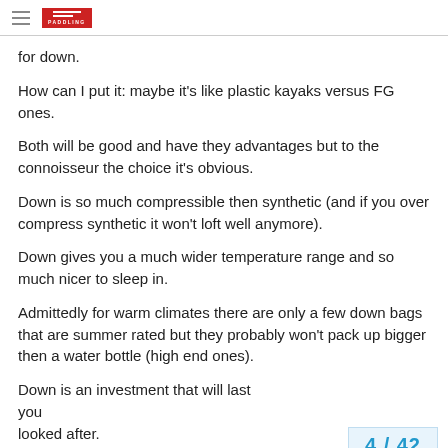PADDLING
for down.
How can I put it: maybe it's like plastic kayaks versus FG ones.
Both will be good and have they advantages but to the connoisseur the choice it's obvious.
Down is so much compressible then synthetic (and if you over compress synthetic it won't loft well anymore).
Down gives you a much wider temperature range and so much nicer to sleep in.
Admittedly for warm climates there are only a few down bags that are summer rated but they probably won't pack up bigger then a water bottle (high end ones).
Down is an investment that will last you looked after.
4 / 42